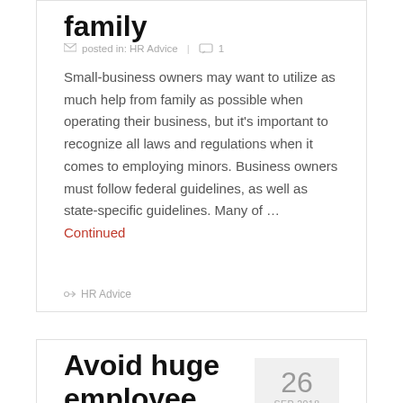family
posted in: HR Advice | 1
Small-business owners may want to utilize as much help from family as possible when operating their business, but it's important to recognize all laws and regulations when it comes to employing minors. Business owners must follow federal guidelines, as well as state-specific guidelines. Many of … Continued
HR Advice
Avoid huge employee vacation balances
26 SEP 2018
posted in: HR Advice | 1